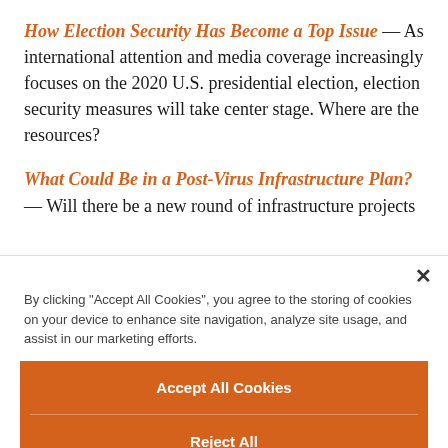How Election Security Has Become a Top Issue — As international attention and media coverage increasingly focuses on the 2020 U.S. presidential election, election security measures will take center stage. Where are the resources?
What Could Be in a Post-Virus Infrastructure Plan? — Will there be a new round of infrastructure projects
By clicking "Accept All Cookies", you agree to the storing of cookies on your device to enhance site navigation, analyze site usage, and assist in our marketing efforts.
Accept All Cookies
Reject All
Cookies Settings